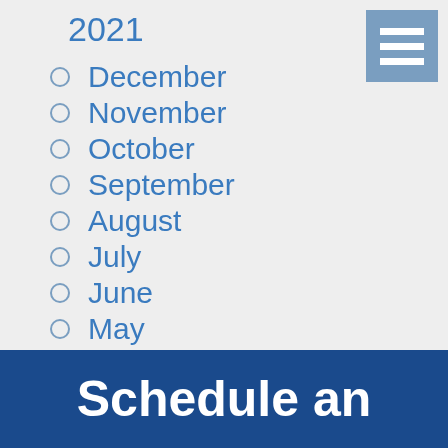2021
December
November
October
September
August
July
June
May
April
March
Schedule an